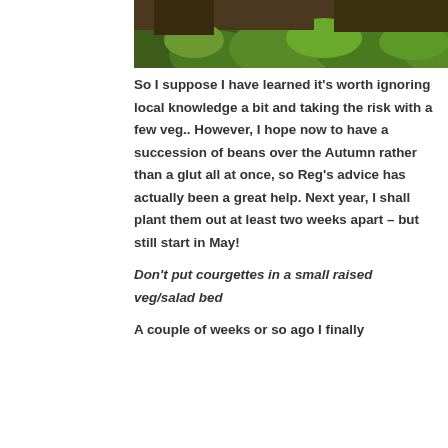[Figure (photo): Partial photo of garden plants with green leafy vegetation and dark soil, cropped at the top of the page]
So I suppose I have learned it's worth ignoring local knowledge a bit and taking the risk with a few veg.. However, I hope now to have a succession of beans over the Autumn rather than a glut all at once, so Reg's advice has actually been a great help. Next year, I shall plant them out at least two weeks apart – but still start in May!
Don't put courgettes in a small raised veg/salad bed
A couple of weeks or so ago I finally